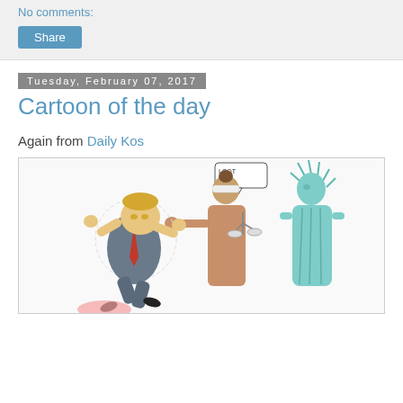No comments:
Share
Tuesday, February 07, 2017
Cartoon of the day
Again from Daily Kos
[Figure (illustration): Political cartoon showing a caricature of a person being held back by Lady Justice (blindfolded, holding scales), with the Statue of Liberty in the background. Lady Justice has a speech bubble saying 'I GOT THIS.']